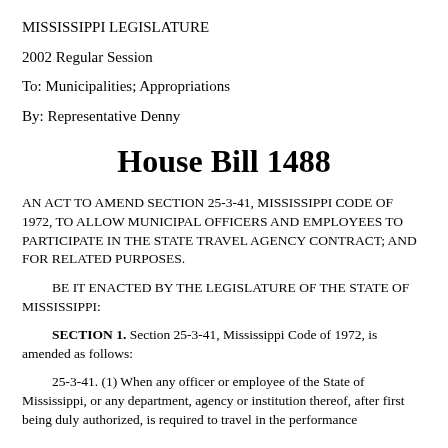MISSISSIPPI LEGISLATURE
2002 Regular Session
To: Municipalities; Appropriations
By: Representative Denny
House Bill 1488
AN ACT TO AMEND SECTION 25-3-41, MISSISSIPPI CODE OF 1972, TO ALLOW MUNICIPAL OFFICERS AND EMPLOYEES TO PARTICIPATE IN THE STATE TRAVEL AGENCY CONTRACT; AND FOR RELATED PURPOSES.
BE IT ENACTED BY THE LEGISLATURE OF THE STATE OF MISSISSIPPI:
SECTION 1. Section 25-3-41, Mississippi Code of 1972, is amended as follows:
25-3-41. (1) When any officer or employee of the State of Mississippi, or any department, agency or institution thereof, after first being duly authorized, is required to travel in the performance